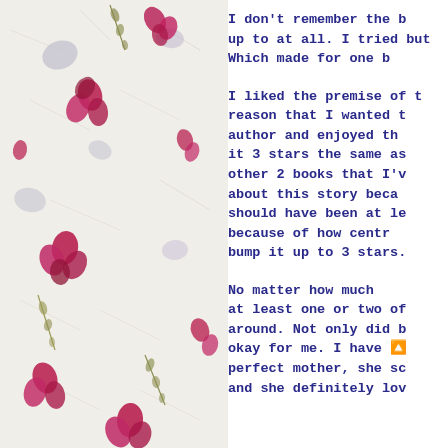[Figure (illustration): Decorative background with pressed pink/magenta flower petals and green herb sprigs scattered on a white/light grey textured paper background]
I don't remember the b up to at all. I tried but Which made for one b
I liked the premise of t reason that I wanted t author and enjoyed th it 3 stars the same as other 2 books that I'v about this story beca should have been at le because of how centr bump it up to 3 stars.
No matter how much at least one or two of around. Not only did b okay for me. I have 🔼 perfect mother, she sc and she definitely lov